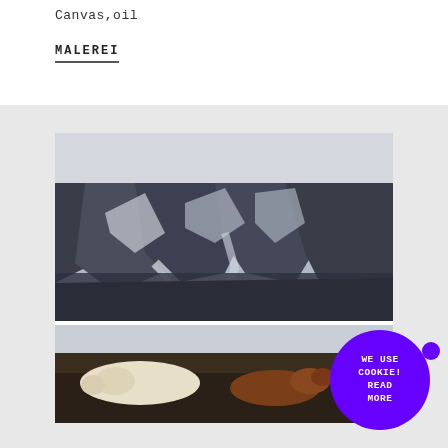Canvas,oil
MALEREI
[Figure (photo): A large painting in two horizontal panels: top panel shows dramatic dark rocky mountainous landscape with snow and ice; bottom panel shows two dogs (one white, one brown/russet) resting on a dark surface, with a snowy landscape in the background.]
WE USE COOKIE! READ MORE